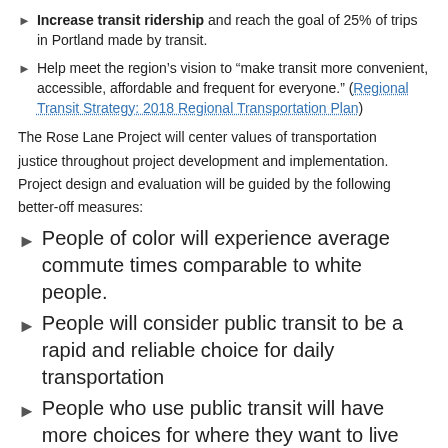Increase transit ridership and reach the goal of 25% of trips in Portland made by transit.
Help meet the region’s vision to “make transit more convenient, accessible, affordable and frequent for everyone.” (Regional Transit Strategy: 2018 Regional Transportation Plan)
The Rose Lane Project will center values of transportation justice throughout project development and implementation. Project design and evaluation will be guided by the following better-off measures:
People of color will experience average commute times comparable to white people.
People will consider public transit to be a rapid and reliable choice for daily transportation
People who use public transit will have more choices for where they want to live and work.